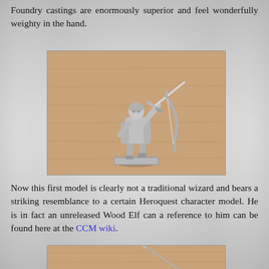Foundry castings are enormously superior and feel wonderfully weighty in the hand.
[Figure (photo): A metal miniature figure (unpainted, silver/pewter) of a Wood Elf warrior holding a sword aloft and carrying a bow, standing on a small base. Photographed on a wooden surface.]
Now this first model is clearly not a traditional wizard and bears a striking resemblance to a certain Heroquest character model. He is in fact an unreleased Wood Elf can a reference to him can be found here at the CCM wiki.
[Figure (photo): Partial photo showing what appears to be a wood surface with a thin pointed object (possibly a pin or needle tool) visible at the bottom of the page.]